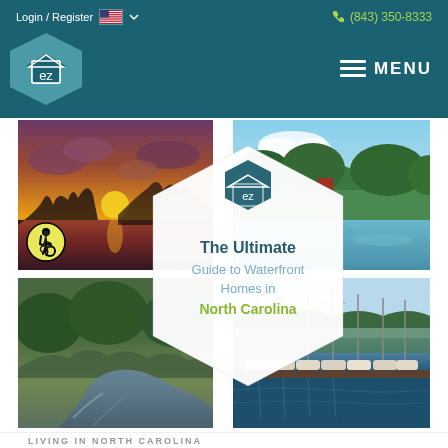Login / Register  (843) 350-8333  MENU
[Figure (screenshot): Website screenshot showing an EZ Homes real estate website header with teal background, EZ hexagon logo, Login/Register link, US flag, phone number (843) 350-8333, and MENU button with hamburger icon]
[Figure (photo): Collage of four nature/waterfront photos: sunset over water (top-left), calm lake with trees reflection (top-right), river with lush greenery (bottom-left), marina with sailboats (bottom-right). Center overlay shows a white hexagon with EZ logo and text 'The Ultimate Guide to Waterfront Homes in North Carolina'. Wheelchair accessibility icon on top-left photo.]
The Ultimate Guide to Waterfront Homes in North Carolina
LIVING IN NORTH CAROLINA